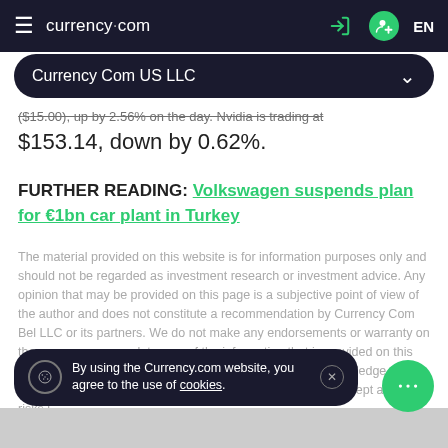currency.com | Currency Com US LLC EN
($15.00), up by 2.56% on the day. Nvidia is trading at $153.14, down by 0.62%.
FURTHER READING: Volkswagen suspends plan for €1bn car plant in Turkey
The material provided on this website is for information purposes only and should not be regarded as investment research or investment advice. Any opinion that may be provided on this page is a subjective point of view of the author and does not constitute a recommendation by Currency Com Bel LLC or its partners. We do not make any endorsements or warranty on the accuracy or completeness of the information that is provided on this page. By relying on the information on this page, you acknowledge that you are acting knowingly and independently and that you accept all the risks i...
By using the Currency.com website, you agree to the use of cookies.